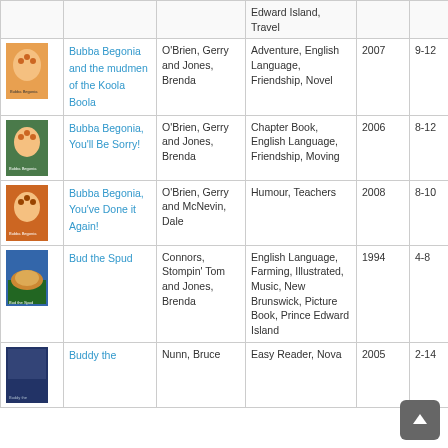| Image | Title | Author | Subject | Year | Age | Region |
| --- | --- | --- | --- | --- | --- | --- |
| [image] |  |  | Edward Island, Travel |  |  |  |
| [image] | Bubba Begonia and the mudmen of the Koola Boola | O'Brien, Gerry and Jones, Brenda | Adventure, English Language, Friendship, Novel | 2007 | 9-12 | Prince Edward Island |
| [image] | Bubba Begonia, You'll Be Sorry! | O'Brien, Gerry and Jones, Brenda | Chapter Book, English Language, Friendship, Moving | 2006 | 8-12 | Prince Edward Island |
| [image] | Bubba Begonia, You've Done it Again! | O'Brien, Gerry and McNevin, Dale | Humour, Teachers | 2008 | 8-10 | Prince Edward Island |
| [image] | Bud the Spud | Connors, Stompin' Tom and Jones, Brenda | English Language, Farming, Illustrated, Music, New Brunswick, Picture Book, Prince Edward Island | 1994 | 4-8 | New Brunswick; Prince Edward Island |
| [image] | Buddy the | Nunn, Bruce | Easy Reader, Nova | 2005 | 2-14 | New Brunswick |